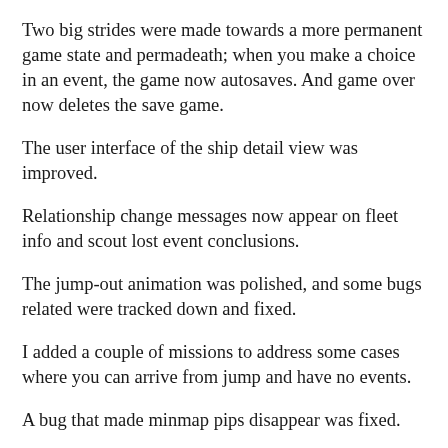Two big strides were made towards a more permanent game state and permadeath; when you make a choice in an event, the game now autosaves.  And game over now deletes the save game.
The user interface of the ship detail view was improved.
Relationship change messages now appear on fleet info and scout lost event conclusions.
The jump-out animation was polished, and some bugs related were tracked down and fixed.
I added a couple of missions to address some cases where you can arrive from jump and have no events.
A bug that made minmap pips disappear was fixed.
The ghost grid that would briefly show during starmap to tactical transitions was removed.  Phantom planet names no longer show during the reverse transition.